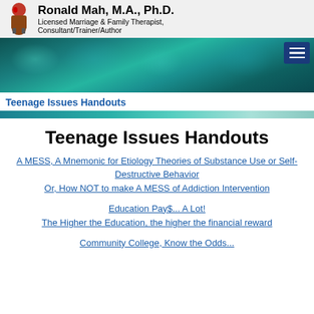Ronald Mah, M.A., Ph.D.
Licensed Marriage & Family Therapist, Consultant/Trainer/Author
[Figure (illustration): Decorative teal/blue bokeh hero banner image]
Teenage Issues Handouts
[Figure (illustration): Teal gradient decorative divider bar]
Teenage Issues Handouts
A MESS, A Mnemonic for Etiology Theories of Substance Use or Self-Destructive Behavior
Or, How NOT to make A MESS of Addiction Intervention
Education Pay$... A Lot!
The Higher the Education, the higher the financial reward
Community College, Know the Odds...